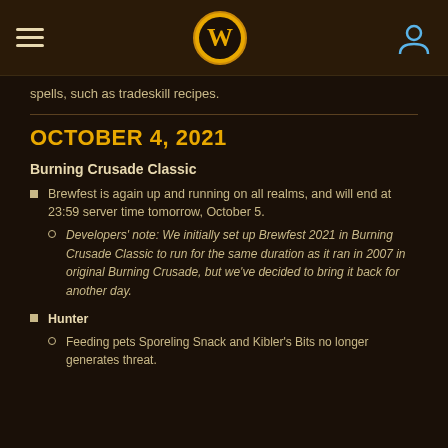W (World of Warcraft logo)
spells, such as tradeskill recipes.
OCTOBER 4, 2021
Burning Crusade Classic
Brewfest is again up and running on all realms, and will end at 23:59 server time tomorrow, October 5.
Developers' note: We initially set up Brewfest 2021 in Burning Crusade Classic to run for the same duration as it ran in 2007 in original Burning Crusade, but we've decided to bring it back for another day.
Hunter
Feeding pets Sporeling Snack and Kibler's Bits no longer generates threat.